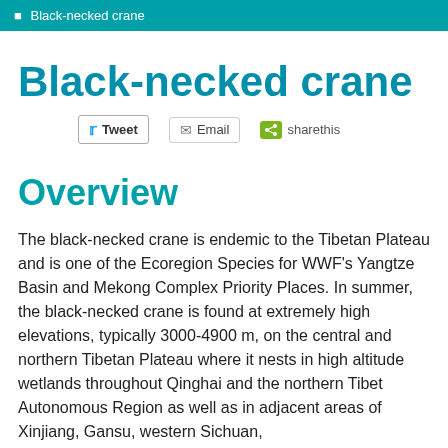Black-necked crane
Black-necked crane
[Figure (other): Social sharing buttons: Tweet, Email, sharethis]
Overview
The black-necked crane is endemic to the Tibetan Plateau and is one of the Ecoregion Species for WWF’s Yangtze Basin and Mekong Complex Priority Places. In summer, the black-necked crane is found at extremely high elevations, typically 3000-4900 m, on the central and northern Tibetan Plateau where it nests in high altitude wetlands throughout Qinghai and the northern Tibet Autonomous Region as well as in adjacent areas of Xinjiang, Gansu, western Sichuan,